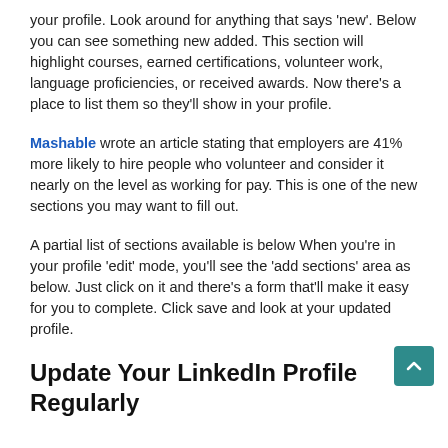your profile. Look around for anything that says 'new'. Below you can see something new added. This section will highlight courses, earned certifications, volunteer work,  language proficiencies, or received awards. Now there's a place to list them so they'll show in your profile.
Mashable wrote an article stating that employers are 41% more likely to hire people who volunteer and consider it nearly on the level as working for pay. This is one of the new sections you may want to fill out.
A partial list of sections available is below When you're in your profile 'edit' mode, you'll see the 'add sections' area as below. Just click on it and there's a form that'll make it easy for you to complete. Click save and look at your updated profile.
Update Your LinkedIn Profile Regularly